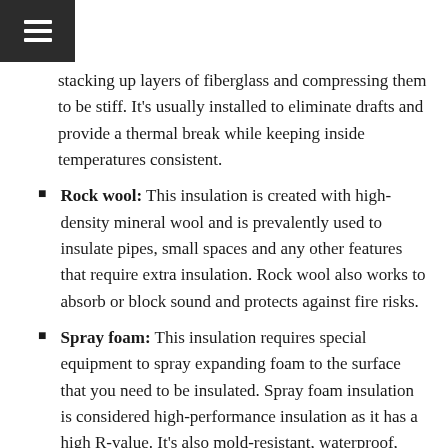Menu icon / navigation header
stacking up layers of fiberglass and compressing them to be stiff. It’s usually installed to eliminate drafts and provide a thermal break while keeping inside temperatures consistent.
Rock wool: This insulation is created with high-density mineral wool and is prevalently used to insulate pipes, small spaces and any other features that require extra insulation. Rock wool also works to absorb or block sound and protects against fire risks.
Spray foam: This insulation requires special equipment to spray expanding foam to the surface that you need to be insulated. Spray foam insulation is considered high-performance insulation as it has a high R-value. It’s also mold-resistant, waterproof, stops air leaks and fills gaps and cracks.
Loose-fill insulation: It is also known as blown-in insulation, and it needs special equipment to blow it into the